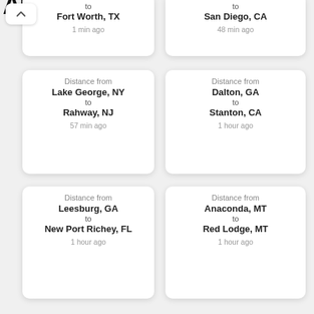[Figure (screenshot): Partial logo at top left, bold large letters visible]
to
Fort Worth, TX
1 min ago
to
San Diego, CA
48 min ago
Distance from
Lake George, NY
to
Rahway, NJ
57 min ago
Distance from
Dalton, GA
to
Stanton, CA
1 hour ago
Distance from
Leesburg, GA
to
New Port Richey, FL
1 hour ago
Distance from
Anaconda, MT
to
Red Lodge, MT
1 hour ago